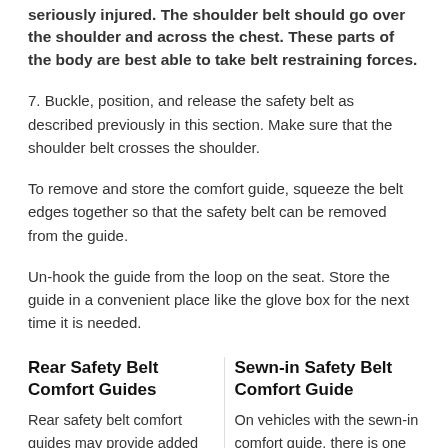seriously injured. The shoulder belt should go over the shoulder and across the chest. These parts of the body are best able to take belt restraining forces.
7. Buckle, position, and release the safety belt as described previously in this section. Make sure that the shoulder belt crosses the shoulder.
To remove and store the comfort guide, squeeze the belt edges together so that the safety belt can be removed from the guide.
Un-hook the guide from the loop on the seat. Store the guide in a convenient place like the glove box for the next time it is needed.
Rear Safety Belt Comfort Guides
Rear safety belt comfort guides may provide added safety belt comfort for older children who have outgrown booster seats and for some adults. When installed on a shoulder belt, the comfort guide posit ...
Sewn-in Safety Belt Comfort Guide
On vehicles with the sewn-in comfort guide, there is one guide for each outboard passenger position in the rear seat. To install a comfort guide to the safety belt: 1. Remove the guide from its st ...